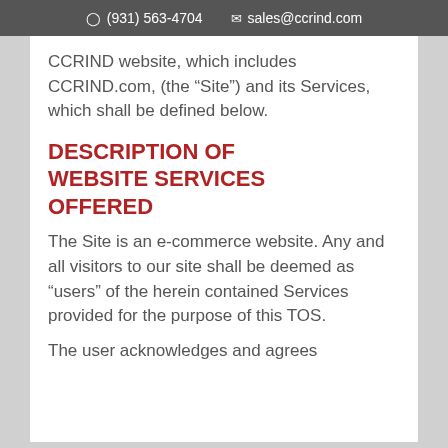(931) 563-4704   sales@ccrind.com
CCRIND website, which includes CCRIND.com, (the “Site”) and its Services, which shall be defined below.
DESCRIPTION OF WEBSITE SERVICES OFFERED
The Site is an e-commerce website. Any and all visitors to our site shall be deemed as “users” of the herein contained Services provided for the purpose of this TOS.
The user acknowledges and agrees